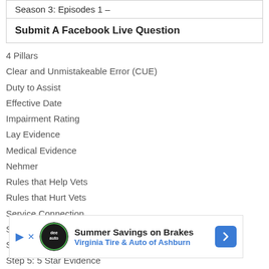Season 3: Episodes 1 –
Submit A Facebook Live Question
4 Pillars
Clear and Unmistakeable Error (CUE)
Duty to Assist
Effective Date
Impairment Rating
Lay Evidence
Medical Evidence
Nehmer
Rules that Help Vets
Rules that Hurt Vets
Service Connection
Step 1: Be the Solution
[Figure (infographic): Advertisement banner: Summer Savings on Brakes – Virginia Tire & Auto of Ashburn]
Step 4: Build the 4 Pillars
Step 5: 5 Star Evidence